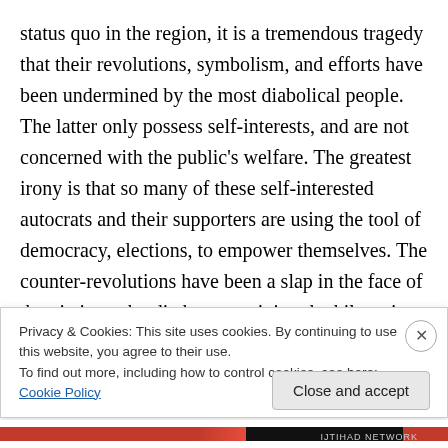status quo in the region, it is a tremendous tragedy that their revolutions, symbolism, and efforts have been undermined by the most diabolical people. The latter only possess self-interests, and are not concerned with the public's welfare. The greatest irony is that so many of these self-interested autocrats and their supporters are using the tool of democracy, elections, to empower themselves. The counter-revolutions have been a slap in the face of the victims who died or were injured while trying to bring democracy, freedoms, and rights to their countries. When strokes and wheelchairs don't deter a
Privacy & Cookies: This site uses cookies. By continuing to use this website, you agree to their use.
To find out more, including how to control cookies, see here: Cookie Policy
Close and accept